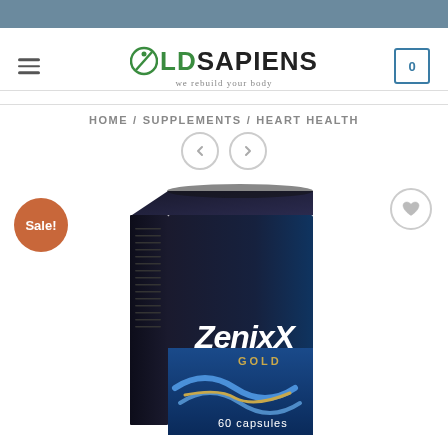[Figure (logo): OldSapiens logo with tagline 'we rebuild your body' and hamburger menu and shopping cart icon]
HOME / SUPPLEMENTS / HEART HEALTH
[Figure (other): Navigation previous and next arrow buttons]
[Figure (photo): ZenixX GOLD 60 capsules supplement product box - dark navy/black packaging with blue wave design and gold text. Sale badge on left, wishlist heart button on right.]